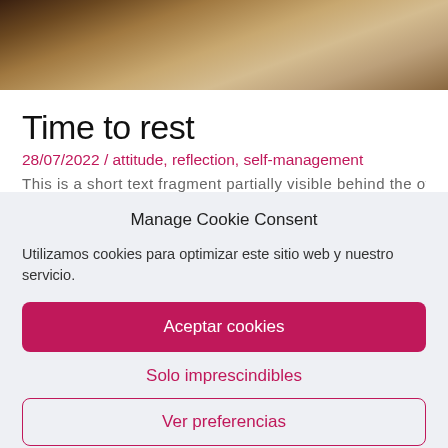[Figure (photo): Partial photo of an animal resting, sandy/earthy tones, cropped at top]
Time to rest
28/07/2022 / attitude, reflection, self-management
This is a short fragment of text partially visible behind the cookie consent dialog
Manage Cookie Consent
Utilizamos cookies para optimizar este sitio web y nuestro servicio.
Aceptar cookies
Solo imprescindibles
Ver preferencias